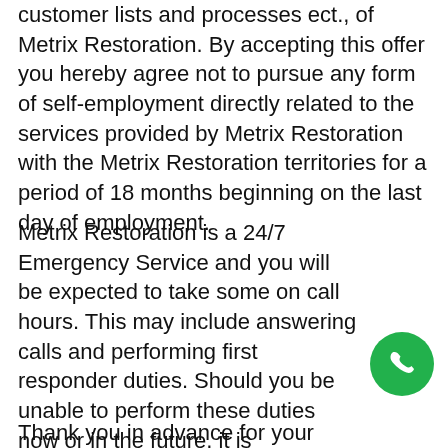customer lists and processes ect., of Metrix Restoration. By accepting this offer you hereby agree not to pursue any form of self-employment directly related to the services provided by Metrix Restoration with the Metrix Restoration territories for a period of 18 months beginning on the last day of employment.
Metrix Restoration is a 24/7 Emergency Service and you will be expected to take some on call hours. This may include answering calls and performing first responder duties. Should you be unable to perform these duties now or in the future, it is imperative that you inform Sr. Management and be prepared for a reduced position.
Thank you in advance for your